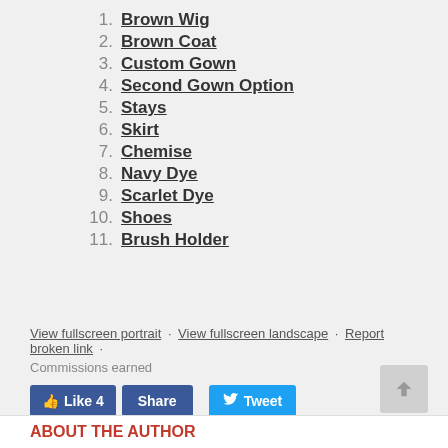1. Brown Wig
2. Brown Coat
3. Custom Gown
4. Second Gown Option
5. Stays
6. Skirt
7. Chemise
8. Navy Dye
9. Scarlet Dye
10. Shoes
11. Brush Holder
View fullscreen portrait · View fullscreen landscape · Report broken link ·
Commissions earned
Like 4   Share   Tweet
ABOUT THE AUTHOR